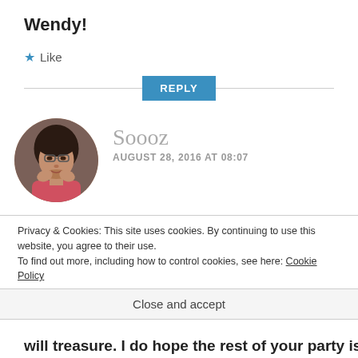Wendy!
★ Like
REPLY
[Figure (photo): Round avatar photo of a woman with short dark hair wearing a pink top, posing with hands near face]
Soooz
AUGUST 28, 2016 AT 08:07
What an absolutely delightful post this is, with a grandson (Only 4 years-old) I'm
Privacy & Cookies: This site uses cookies. By continuing to use this website, you agree to their use.
To find out more, including how to control cookies, see here: Cookie Policy
Close and accept
will treasure. I do hope the rest of your party is joyous